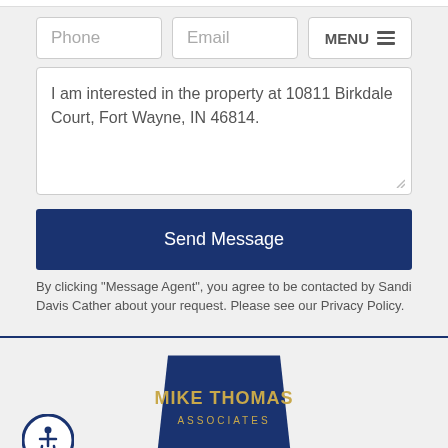[Figure (screenshot): Phone input field placeholder]
[Figure (screenshot): Email input field placeholder]
[Figure (screenshot): MENU button with hamburger icon]
I am interested in the property at 10811 Birkdale Court, Fort Wayne, IN 46814.
[Figure (screenshot): Send Message button in dark navy blue]
By clicking "Message Agent", you agree to be contacted by Sandi Davis Cather about your request. Please see our Privacy Policy.
[Figure (logo): Mike Thomas Associates Realtors logo — dark navy trapezoid shape with gold text MIKE THOMAS, ASSOCIATES, REALTORS]
[Figure (illustration): Accessibility icon — circular blue badge with wheelchair user figure]